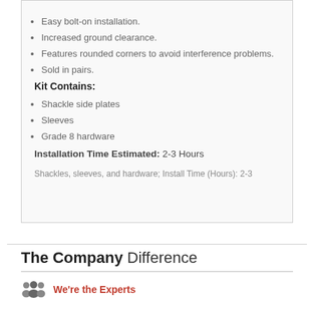Easy bolt-on installation.
Increased ground clearance.
Features rounded corners to avoid interference problems.
Sold in pairs.
Kit Contains:
Shackle side plates
Sleeves
Grade 8 hardware
Installation Time Estimated: 2-3 Hours
Shackles, sleeves, and hardware; Install Time (Hours): 2-3
The Company Difference
We're the Experts